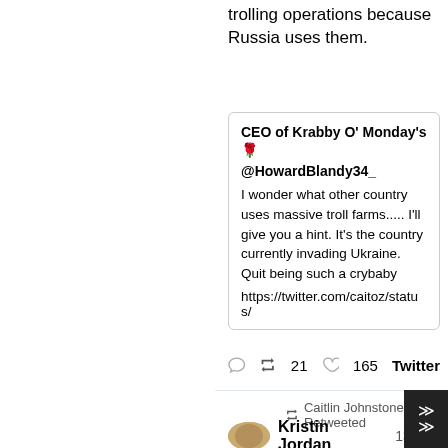trolling operations because Russia uses them.
[Figure (screenshot): Embedded tweet from @HowardBlandy34_ (CEO of Krabby O' Monday's) reading: 'I wonder what other country uses massive troll farms..... I'll give you a hint. It's the country currently invading Ukraine. Quit being such a crybaby https://twitter.com/caitoz/status/']
21 retweets, 165 likes, Twitter
Caitlin Johnstone Retweeted
Kristin Jordan 13h